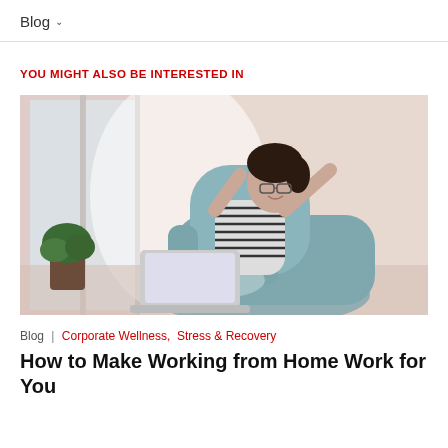Blog ∨
YOU MIGHT ALSO BE INTERESTED IN
[Figure (photo): Woman sitting relaxed in a grey armchair near a large window, wearing glasses and a black-and-white striped top, with a laptop on the armrest and plants in the foreground. Bright natural light in the background.]
Blog | Corporate Wellness, Stress & Recovery
How to Make Working from Home Work for You